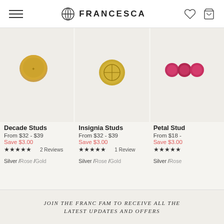FRANCESCA
[Figure (photo): Decade Studs product photo - gold coin stud earring on cream background]
[Figure (photo): Insignia Studs product photo - gold coin stud earring with circular insignia on cream background]
[Figure (photo): Petal Studs product photo - red/pink gemstone studs on cream background (partially visible)]
Decade Studs
From $32 - $39
Save $3.00
★★★★★ 2 Reviews
Silver / Rose / Gold
Insignia Studs
From $32 - $39
Save $3.00
★★★★★ 1 Review
Silver / Rose / Gold
Petal Stud
From $18 -
Save $3.00
★★★★★
Silver / Rose
BACK TO JEWELLERY SALE
JOIN THE FRANC FAM TO RECEIVE ALL THE LATEST UPDATES AND OFFERS